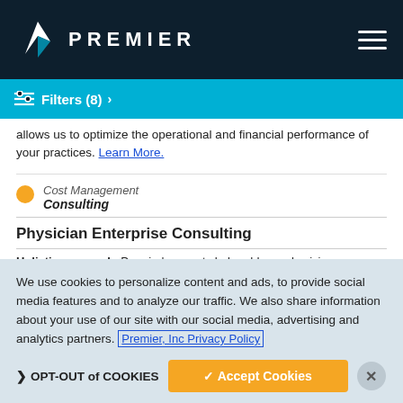PREMIER
Filters (8) >
allows us to optimize the operational and financial performance of your practices. Learn More.
Cost Management / Consulting
Physician Enterprise Consulting
Holistic approach. Premier's experts help address physician
We use cookies to personalize content and ads, to provide social media features and to analyze our traffic. We also share information about your use of our site with our social media, advertising and analytics partners. Premier, Inc Privacy Policy
OPT-OUT of COOKIES   ✓ Accept Cookies